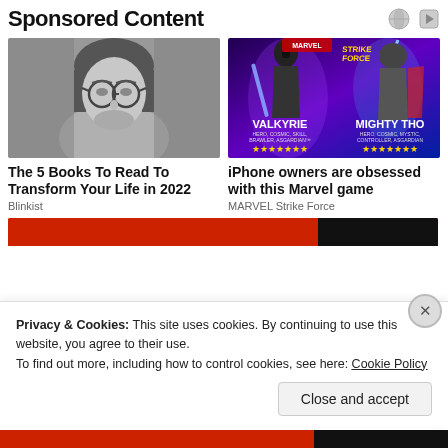Sponsored Content
[Figure (photo): Black and white photo of a young man with round glasses and long hair]
The 5 Books To Read To Transform Your Life in 2022
Blinkist
[Figure (screenshot): Marvel Strike Force game promotional image showing Valkyrie and Mighty Thor characters with star ratings]
iPhone owners are obsessed with this Marvel game
MARVEL Strike Force
Privacy & Cookies: This site uses cookies. By continuing to use this website, you agree to their use.
To find out more, including how to control cookies, see here: Cookie Policy
Close and accept